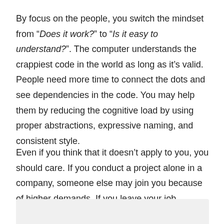By focus on the people, you switch the mindset from “Does it work?” to “Is it easy to understand?”. The computer understands the crappiest code in the world as long as it’s valid. People need more time to connect the dots and see dependencies in the code. You may help them by reducing the cognitive load by using proper abstractions, expressive naming, and consistent style.
Even if you think that it doesn’t apply to you, you should care. If you conduct a project alone in a company, someone else may join you because of higher demands. If you leave your job, another developer takes over your work. How smooth this process will be?